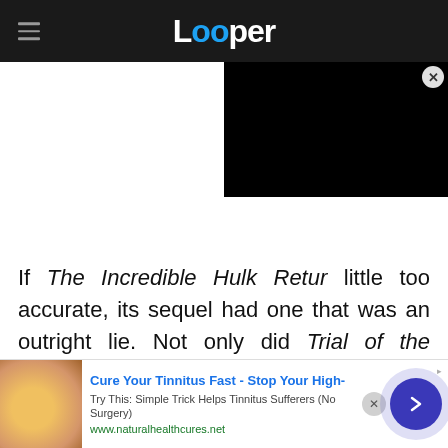Looper
[Figure (screenshot): Black video player overlay in the top-right of the page with a close (X) button]
If The Incredible Hulk Returns had a title that was a little too accurate, its sequel had one that was an outright lie. Not only did Trial of the Incredible Hulk not feature the Hulk being put on trial, it didn't feature any trial at all. There is a single courtroom scene when Bruce Banner flips out and turns into his alter ego — and throws a chair at a jury box
[Figure (infographic): Advertisement banner at the bottom: Cure Your Tinnitus Fast - Stop Your High- / Try This: Simple Trick Helps Tinnitus Sufferers (No Surgery) / www.naturalhealthcures.net, with ear illustration image and arrow button]